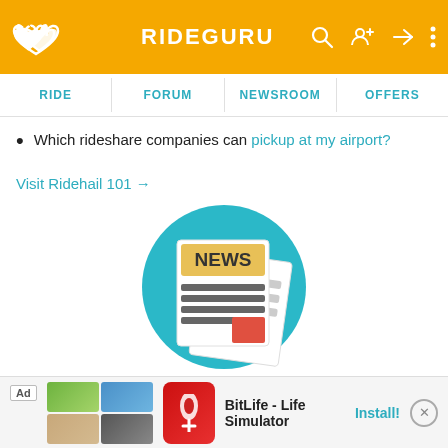RIDEGURU
RIDE | FORUM | NEWSROOM | OFFERS
Which rideshare companies can pickup at my airport?
Visit Ridehail 101 →
[Figure (illustration): News icon: teal circle with newspaper and NEWS banner illustration]
RideGuru Newsroom
Already an experienced rider? Love traveling the world? Come check out our regularly updated newsroom!
RideGu… rideshares,
Ad: BitLife - Life Simulator — Install!